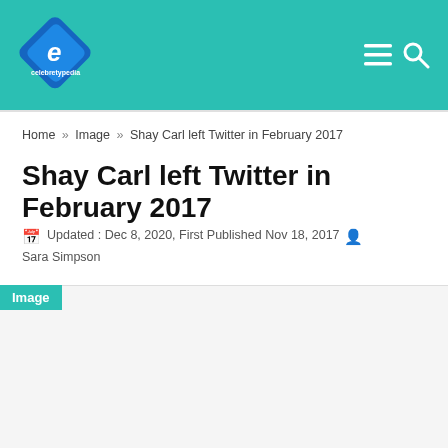CelebretyCParts logo with navigation menu and search icons
Home » Image » Shay Carl left Twitter in February 2017
Shay Carl left Twitter in February 2017
Updated : Dec 8, 2020, First Published Nov 18, 2017  Sara Simpson
[Figure (screenshot): iPhone screenshot showing a Notes app with text: I've been lying to myself. My heart is sick. It's been impossible to keep up this perfect "happiness is a choice" mentality. I can't do it anymore. I started drinking again 3 months ago.I have struggled with]